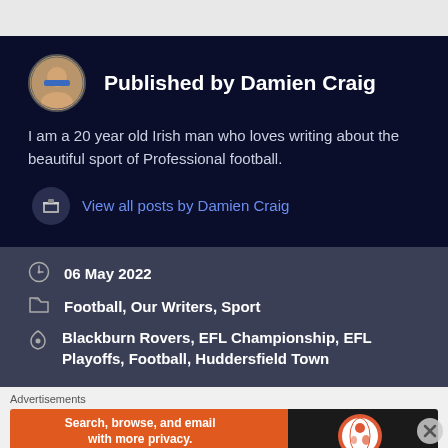Published by Damien Craig
I am a 20 year old Irish man who loves writing about the beautiful sport of Professional football.
View all posts by Damien Craig
06 May 2022
Football, Our Writers, Sport
Blackburn Rovers, EFL Championship, EFL Playoffs, Football, Huddersfield Town
[Figure (other): DuckDuckGo advertisement banner: Search, browse, and email with more privacy. All in One Free App.]